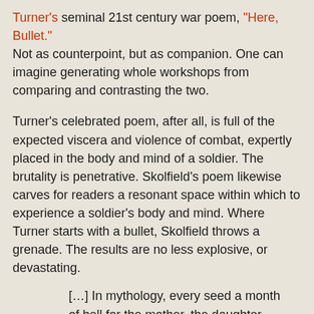Turner's seminal 21st century war poem, "Here, Bullet." Not as counterpoint, but as companion. One can imagine generating whole workshops from comparing and contrasting the two.
Turner's celebrated poem, after all, is full of the expected viscera and violence of combat, expertly placed in the body and mind of a soldier. The brutality is penetrative. Skolfield's poem likewise carves for readers a resonant space within which to experience a soldier's body and mind. Where Turner starts with a bullet, Skolfield throws a grenade. The results are no less explosive, or devastating.
[…] In mythology, every seed a month
of hell for the mother, the daughter,
her daughter's daughters
along the generations. In every war,
the same recognizable hunger.
Fruit of the dead, from living to not living,
also fruit of fertility, from one to many,
the names of the dead ripening.
How the arm extends, the palm opens,